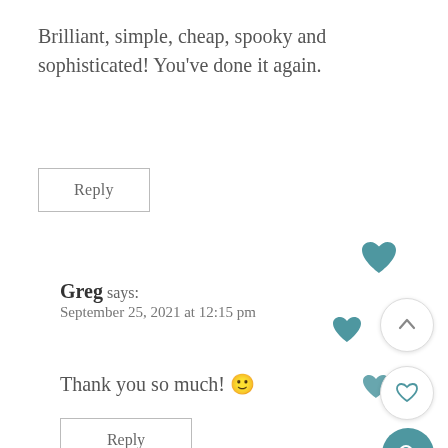Brilliant, simple, cheap, spooky and sophisticated! You’ve done it again.
Reply
Greg says:
September 25, 2021 at 12:15 pm
Thank you so much! 🙂
Reply